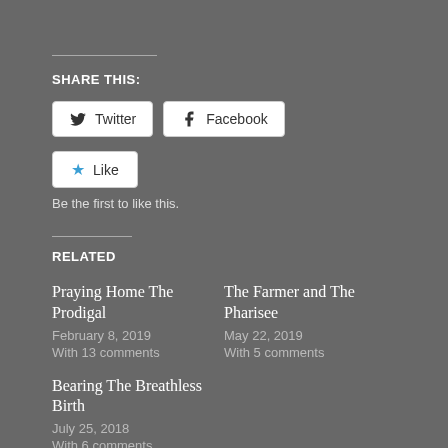SHARE THIS:
[Figure (other): Twitter and Facebook share buttons]
[Figure (other): Like button with blue star icon]
Be the first to like this.
RELATED
Praying Home The Prodigal
February 8, 2019
With 13 comments
The Farmer and The Pharisee
May 22, 2019
With 5 comments
Bearing The Breathless Birth
July 25, 2018
With 6 comments